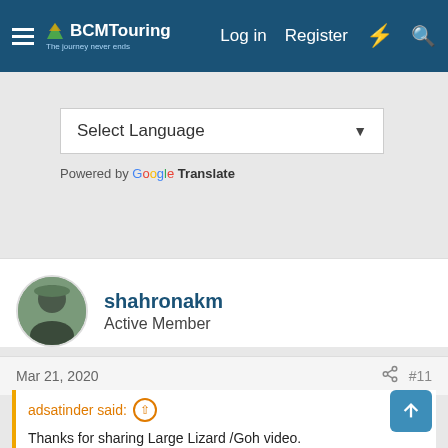BCMTouring — Log in  Register
Select Language
Powered by Google Translate
shahronakm
Active Member
Mar 21, 2020  #11
adsatinder said: ↑
Thanks for sharing Large Lizard /Goh video.
I have read stories only in childhood.
Today came to know the same animal who was important part of army in earlier centuries to conquer Forts.